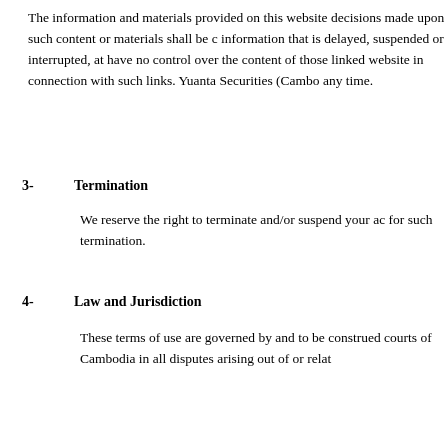The information and materials provided on this website decisions made upon such content or materials shall be information that is delayed, suspended or interrupted, at have no control over the content of those linked website in connection with such links. Yuanta Securities (Cambo any time.
3-   Termination
We reserve the right to terminate and/or suspend your ac for such termination.
4-   Law and Jurisdiction
These terms of use are governed by and to be construed courts of Cambodia in all disputes arising out of or relat